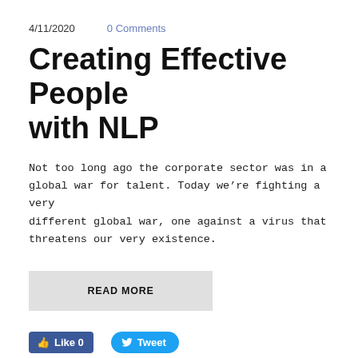4/11/2020    0 Comments
Creating Effective People with NLP
Not too long ago the corporate sector was in a global war for talent. Today we’re fighting a very different global war, one against a virus that threatens our very existence.
READ MORE
Like 0   Tweet
Resolve Conflict in the